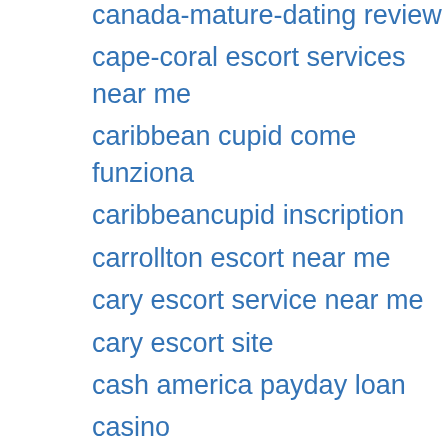canada-mature-dating review
cape-coral escort services near me
caribbean cupid come funziona
caribbeancupid inscription
carrollton escort near me
cary escort service near me
cary escort site
cash america payday loan
casino
Casual Dating
Casual Sex and single site
Casual Sex visitors
casualdates come funziona
casualdates funziona
CasualDates reviews